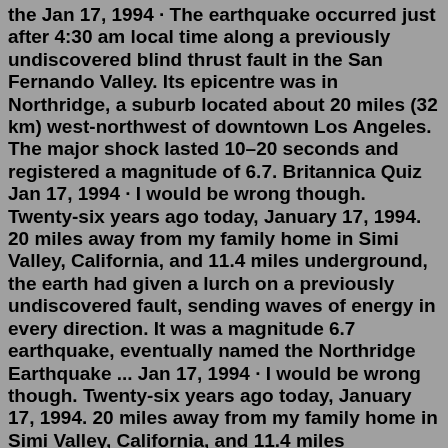the Jan 17, 1994 · The earthquake occurred just after 4:30 am local time along a previously undiscovered blind thrust fault in the San Fernando Valley. Its epicentre was in Northridge, a suburb located about 20 miles (32 km) west-northwest of downtown Los Angeles. The major shock lasted 10–20 seconds and registered a magnitude of 6.7. Britannica Quiz Jan 17, 1994 · I would be wrong though. Twenty-six years ago today, January 17, 1994. 20 miles away from my family home in Simi Valley, California, and 11.4 miles underground, the earth had given a lurch on a previously undiscovered fault, sending waves of energy in every direction. It was a magnitude 6.7 earthquake, eventually named the Northridge Earthquake ... Jan 17, 1994 · I would be wrong though. Twenty-six years ago today, January 17, 1994. 20 miles away from my family home in Simi Valley, California, and 11.4 miles underground, the earth had given a lurch on a previously undiscovered fault, sending waves of energy in every direction. It was a magnitude 6.7 earthquake, eventually named the